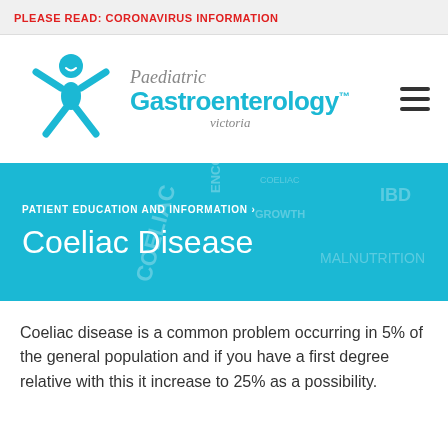PLEASE READ: CORONAVIRUS INFORMATION
[Figure (logo): Paediatric Gastroenterology Victoria logo with cyan figure of a child with arms raised and stylized text]
PATIENT EDUCATION AND INFORMATION ›
Coeliac Disease
Coeliac disease is a common problem occurring in 5% of the general population and if you have a first degree relative with this it increase to 25% as a possibility.